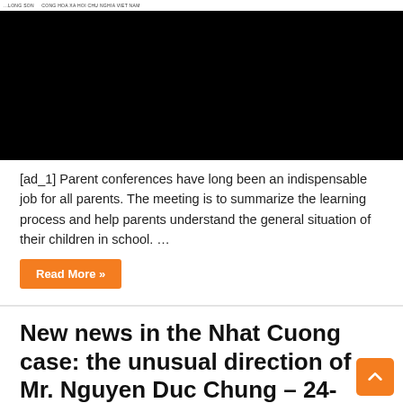[Figure (screenshot): A screenshot of a Vietnamese government document with a mostly black video/image area and a thin white top bar showing partial text: '...LONG SON   CONG HOA XA HOI CHU NGHIA VIET NAM']
[ad_1] Parent conferences have long been an indispensable job for all parents. The meeting is to summarize the learning process and help parents understand the general situation of their children in school. …
Read More »
New news in the Nhat Cuong case: the unusual direction of Mr. Nguyen Duc Chung – 24-hour news
January 15, 2021   vietnam
[ad_1] News from the Nhat Cuong case: the unusual direction of Mr.